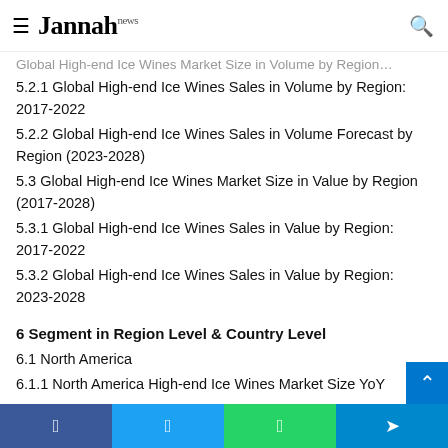Jannah news
Global High-end Ice Wines Market Size in Volume by Region…
5.2.1 Global High-end Ice Wines Sales in Volume by Region: 2017-2022
5.2.2 Global High-end Ice Wines Sales in Volume Forecast by Region (2023-2028)
5.3 Global High-end Ice Wines Market Size in Value by Region (2017-2028)
5.3.1 Global High-end Ice Wines Sales in Value by Region: 2017-2022
5.3.2 Global High-end Ice Wines Sales in Value by Region: 2023-2028
6 Segment in Region Level & Country Level
6.1 North America
6.1.1 North America High-end Ice Wines Market Size YoY…
Facebook Twitter WhatsApp Telegram